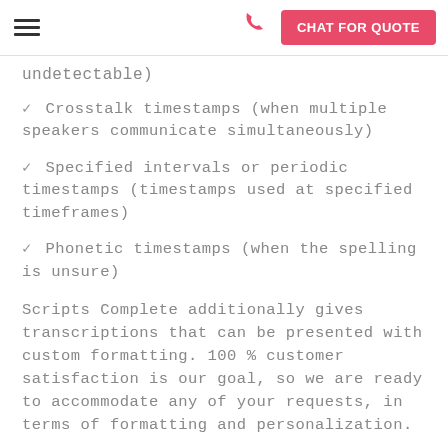CHAT FOR QUOTE
undetectable)
✓ Crosstalk timestamps (when multiple speakers communicate simultaneously)
✓ Specified intervals or periodic timestamps (timestamps used at specified timeframes)
✓ Phonetic timestamps (when the spelling is unsure)
Scripts Complete additionally gives transcriptions that can be presented with custom formatting. 100 % customer satisfaction is our goal, so we are ready to accommodate any of your requests, in terms of formatting and personalization.